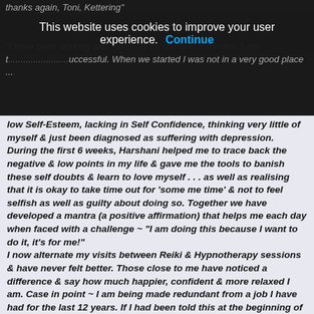thanks again, Toni, Kettering"
This website uses cookies to improve your user experience. Continue
"I have been working with Harshani for the past 6 months & the t... ...uccessful. When we started I was not in a very good place ... low Self-Esteem, lacking in Self Confidence, thinking very little of myself & just been diagnosed as suffering with depression.
During the first 6 weeks, Harshani helped me to trace back the negative & low points in my life & gave me the tools to banish these self doubts & learn to love myself . . . as well as realising that it is okay to take time out for 'some me time' & not to feel selfish as well as guilty about doing so. Together we have developed a mantra (a positive affirmation) that helps me each day when faced with a challenge ~ "I am doing this because I want to do it, it's for me!"
I now alternate my visits between Reiki & Hypnotherapy sessions & have never felt better. Those close to me have noticed a difference & say how much happier, confident & more relaxed I am. Case in point ~ I am being made redundant from a job I have had for the last 12 years. If I had been told this at the beginning of the year I believe I would not have accepted the decision & dealt with the circumstances as well as I have done. This is down to the help I have been given by Harshani. A very Big Thank You! " ~ Denise, Northamptonshire